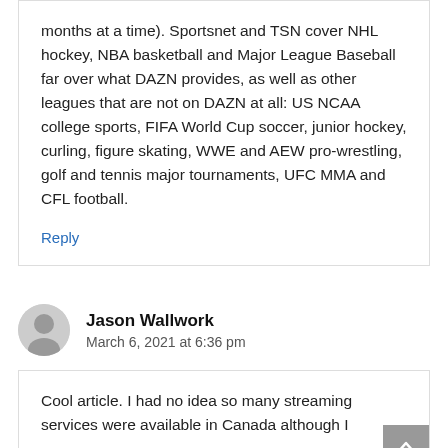months at a time). Sportsnet and TSN cover NHL hockey, NBA basketball and Major League Baseball far over what DAZN provides, as well as other leagues that are not on DAZN at all: US NCAA college sports, FIFA World Cup soccer, junior hockey, curling, figure skating, WWE and AEW pro-wrestling, golf and tennis major tournaments, UFC MMA and CFL football.
Reply
Jason Wallwork
March 6, 2021 at 6:36 pm
Cool article. I had no idea so many streaming services were available in Canada although I